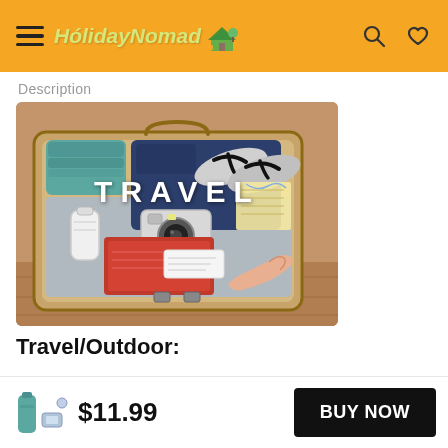HolidayNomad
Description
[Figure (photo): Open suitcase packed with travel items including flip-flops, a camera, map, passport, red notebook and a teal water bottle, with hand reaching in. Text overlay reads TRAVEL.]
Travel/Outdoor:
$11.99
BUY NOW